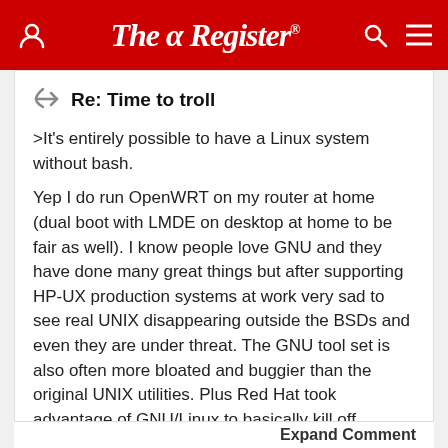The Register
Re: Time to troll
>It's entirely possible to have a Linux system without bash.
Yep I do run OpenWRT on my router at home (dual boot with LMDE on desktop at home to be fair as well). I know people love GNU and they have done many great things but after supporting HP-UX production systems at work very sad to see real UNIX disappearing outside the BSDs and even they are under threat. The GNU tool set is also often more bloated and buggier than the original UNIX utilities. Plus Red Hat took advantage of GNU/Linux to basically kill off POSIX. Sad to see how more and more FOSS is becoming dependent on the Linux kernel. Linux is the future but more due to bean counters than being technologically superior. My HP-UX